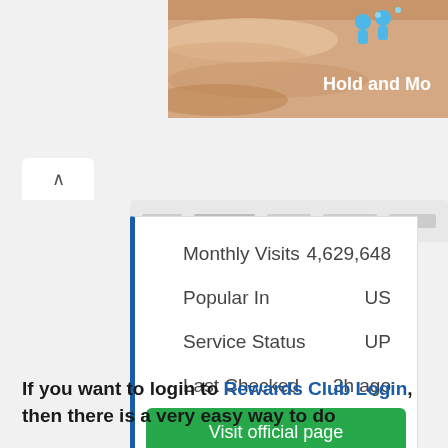[Figure (screenshot): Partial screenshot of a website banner showing 'Hold and Mo' text and blue figures icons on a sandy/peach background]
[Figure (screenshot): Partial navigation bar screenshot with tabs and menu items]
| Monthly Visits | 4,629,648 |
| Popular In | US |
| Service Status | UP |
| Last Checked | 3h ago |
Visit official page
If you want to login to Rewards Club Login, then there is a very easy way to do